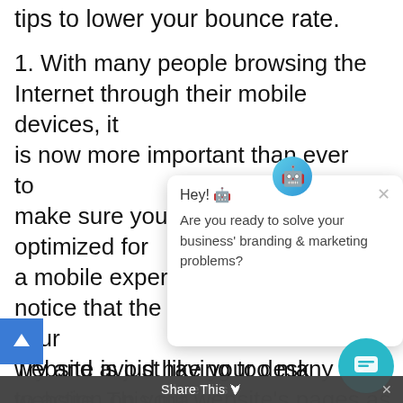tips to lower your bounce rate.
1. With many people browsing the Internet through their mobile devices, it is now more important than ever to make sure your website is optimized for a mobile experience. People might notice that the mobile version of your website is just like your desktop website. This may create a confusing and frustrating experience for users, which may cause them to leave when they have a quick question or query. Try making your website mobile-friendly and see if that helps lower your bounce rate.
Try and avoid having too many calls to action on your website's pages as it
[Figure (screenshot): Chat popup overlay with robot emoji icon, close button (X), and message: Hey! Are you ready to solve your business' branding & marketing problems?]
[Figure (other): Teal floating action button (chat icon) in bottom right corner]
[Figure (other): Blue scroll-up arrow button in bottom left]
Share This